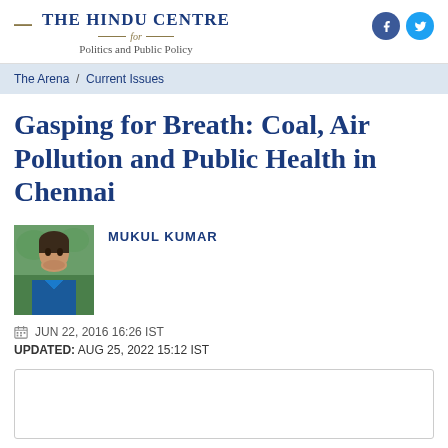THE HINDU CENTRE for Politics and Public Policy
The Arena / Current Issues
Gasping for Breath: Coal, Air Pollution and Public Health in Chennai
MUKUL KUMAR
JUN 22, 2016 16:26 IST
UPDATED: AUG 25, 2022 15:12 IST
[Figure (photo): Portrait photo of author Mukul Kumar]